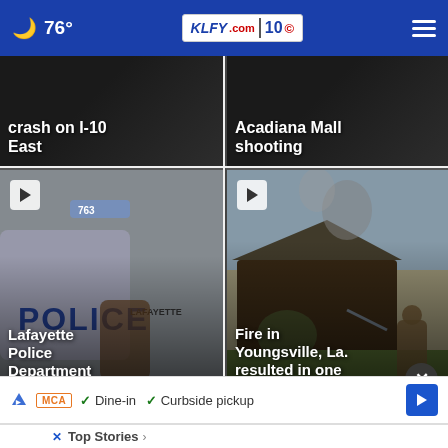🌙 76° KLFY.com 10
[Figure (screenshot): Dark background news card (top-left): text overlay reading 'crash on I-10 East']
crash on I-10 East
[Figure (screenshot): Dark background news card (top-right): text overlay reading 'Acadiana Mall shooting']
Acadiana Mall shooting
[Figure (photo): Lafayette Police Department patrol car close-up with officer hand opening door, police logo visible]
Lafayette Police Department investigating shots fired ...
[Figure (photo): Burned/fire-damaged house with firefighter spraying water, smoke visible]
Fire in Youngsville, La. resulted in one death
✓ Dine-in  ✓ Curbside pickup
Top Stories ›